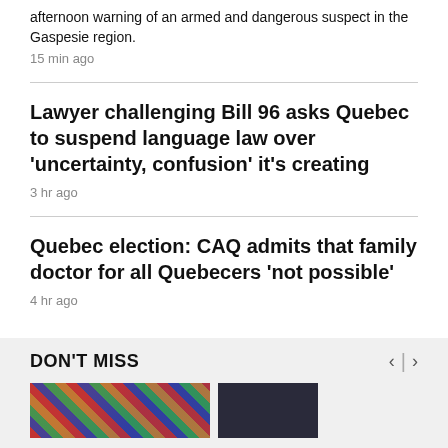afternoon warning of an armed and dangerous suspect in the Gaspesie region.
15 min ago
Lawyer challenging Bill 96 asks Quebec to suspend language law over 'uncertainty, confusion' it's creating
3 hr ago
Quebec election: CAQ admits that family doctor for all Quebecers 'not possible'
4 hr ago
DON'T MISS
[Figure (photo): Thumbnail image on the left side of Don't Miss section]
[Figure (photo): Thumbnail image on the right side of Don't Miss section]